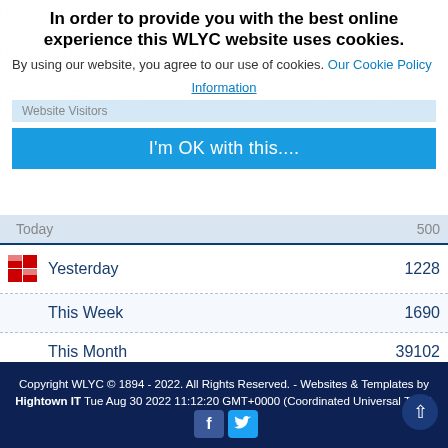[Figure (screenshot): Faint calendar grid background showing dates 15-21, 22-28, 29-31 in pale grey cells]
In order to provide you with the best online experience this WLYC website uses cookies.
By using our website, you agree to our use of cookies. Our Cookie Policy
Information
Website Visitors
I'm OK with this....
|  | Period | Count |
| --- | --- | --- |
| [icon] | Today | 500 |
| [icon] | Yesterday | 1228 |
|  | This Week | 1690 |
|  | This Month | 39102 |
|  | Total To Date | 4385624 |
Copyright WLYC © 1894 - 2022. All Rights Reserved. - Websites & Templates by Hightown IT Tue Aug 30 2022 11:12:20 GMT+0000 (Coordinated Universal Time)